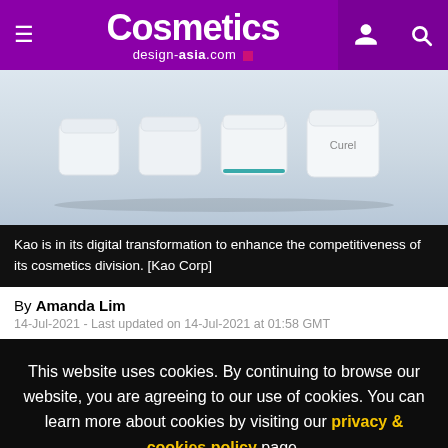Cosmetics design-asia.com
[Figure (photo): White cosmetics jars and containers arranged on a light blue-grey surface, with one jar showing the Curel brand label.]
Kao is in its digital transformation to enhance the competitiveness of its cosmetics division. [Kao Corp]
By Amanda Lim
14-Jul-2021 - Last updated on 14-Jul-2021 at 01:58 GMT
This website uses cookies. By continuing to browse our website, you are agreeing to our use of cookies. You can learn more about cookies by visiting our privacy & cookies policy page.
I Agree